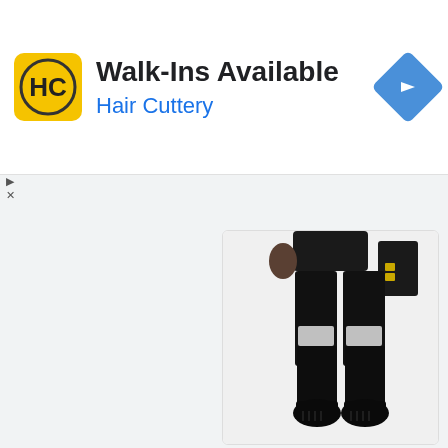[Figure (screenshot): Advertisement banner for Hair Cuttery with yellow HC logo, text 'Walk-Ins Available' in bold and 'Hair Cuttery' in blue, and a blue navigation diamond icon on the right. Small play and close buttons (triangle and X) appear on the left below the ad.]
[Figure (photo): Close-up photo of the lower body of a black-armored action figure (appears to be a Borg or sci-fi character), showing legs with silver knee accents and black boots, and a mechanical arm/weapon visible on the right side. White background.]
[Figure (photo): Close-up photo of the upper body and head of a black-armored sci-fi action figure with a mechanical/Borg-style head featuring goggles and cybernetic implants, and a ribbed chest armor. White background.]